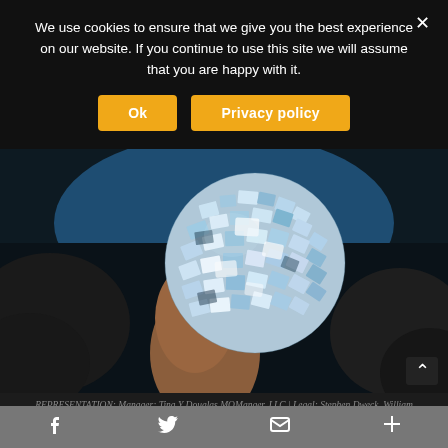We use cookies to ensure that we give you the best experience on our website. If you continue to use this site we will assume that you are happy with it.
[Figure (photo): A person's hand holding a shiny mosaic mirror sphere/ball against a dark rocky background with blue water behind it.]
REPRESENTATION: Manager: Tina Y Douglas MOManger, LLC | Legal: Stephen Dweck, William Archer | Business Manager: Jerome Leventhal, Leventhal Financial Service
Facebook | Twitter | Email | More